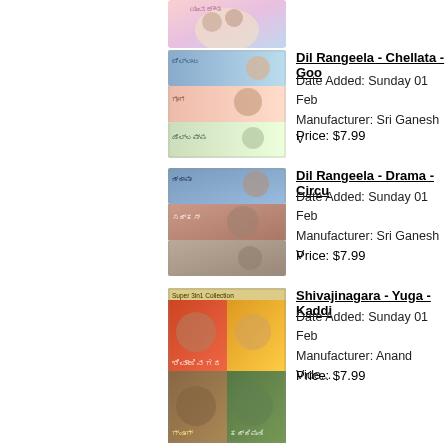[Figure (photo): Movie cover image at top (partially visible)]
Dil Rangeela - Chellata - Goo...
Date Added: Sunday 01 Feb
Manufacturer: Sri Ganesh V
Price: $7.99
[Figure (photo): Dil Rangeela - Chellata collection DVD cover]
Dil Rangeela - Drama - Circu...
Date Added: Sunday 01 Feb
Manufacturer: Sri Ganesh V
Price: $7.99
[Figure (photo): Dil Rangeela - Drama - Circus collection DVD cover]
Shivajinagara - Yuga - Kaddi...
Date Added: Sunday 01 Feb
Manufacturer: Anand Vide...
Price: $7.99
[Figure (photo): Shivajinagara - Yuga - Kaddipudi collection DVD cover]